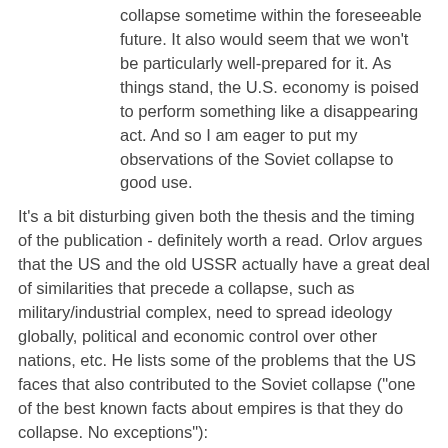collapse sometime within the foreseeable future. It also would seem that we won't be particularly well-prepared for it. As things stand, the U.S. economy is poised to perform something like a disappearing act. And so I am eager to put my observations of the Soviet collapse to good use.
It's a bit disturbing given both the thesis and the timing of the publication - definitely worth a read. Orlov argues that the US and the old USSR actually have a great deal of similarities that precede a collapse, such as military/industrial complex, need to spread ideology globally, political and economic control over other nations, etc. He lists some of the problems that the US faces that also contributed to the Soviet collapse ("one of the best known facts about empires is that they do collapse. No exceptions"):
... huge, well-equipped, very expensive military, with no clear mission, bogged down in fighting Muslim insurgents. Such as energy shortfalls linked to peaking oil production. Such as a persistently unfavorable trade balance, resulting